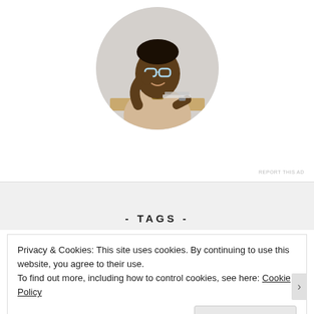[Figure (photo): Circular cropped photo of a smiling young Black man with glasses, wearing a beige t-shirt, sitting at a desk with his hand raised to his chin, looking upward thoughtfully.]
REPORT THIS AD
- TAGS -
Privacy & Cookies: This site uses cookies. By continuing to use this website, you agree to their use.
To find out more, including how to control cookies, see here: Cookie Policy
Close and accept
REPORT THIS AD